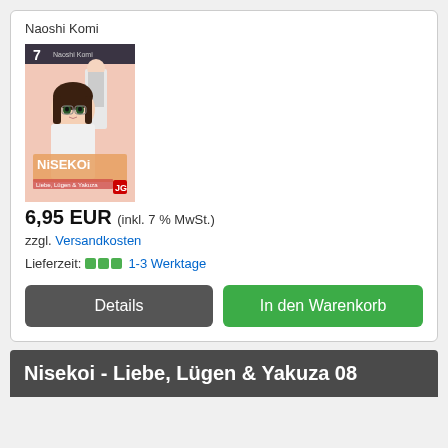Naoshi Komi
[Figure (illustration): Manga book cover for Nisekoi volume 7 - Liebe, Lügen & Yakuza, showing anime characters]
6,95 EUR (inkl. 7 % MwSt.)
zzgl. Versandkosten
Lieferzeit: 1-3 Werktage
Details
In den Warenkorb
Nisekoi - Liebe, Lügen & Yakuza 08